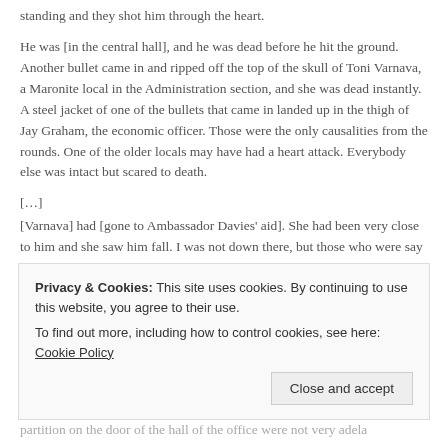standing and they shot him through the heart.
He was [in the central hall], and he was dead before he hit the ground. Another bullet came in and ripped off the top of the skull of Toni Varnava, a Maronite local in the Administration section, and she was dead instantly. A steel jacket of one of the bullets that came in landed up in the thigh of Jay Graham, the economic officer. Those were the only causalities from the rounds. One of the older locals may have had a heart attack. Everybody else was intact but scared to death.
[…]
[Varnava] had [gone to Ambassador Davies' aid]. She had been very close to him and she saw him fall. I was not down there, but those who were say she saw him fall and bent down to catch him and as she did her head was ripped open by the bullet, so they both fell.
Privacy & Cookies: This site uses cookies. By continuing to use this website, you agree to their use.
To find out more, including how to control cookies, see here: Cookie Policy
Close and accept
partition on the door of the hall of the office were not very adela